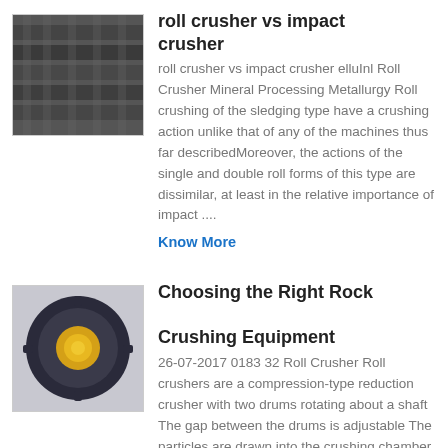[Figure (photo): Industrial roll crusher machinery, dark industrial setting]
roll crusher vs impact crusher
roll crusher vs impact crusher elluInl Roll Crusher Mineral Processing Metallurgy Roll crushing of the sledging type have a crushing action unlike that of any of the machines thus far describedMoreover, the actions of the single and double roll forms of this type are dissimilar, at least in the relative importance of impact ....
Know More
[Figure (photo): Rock crushing equipment, circular crusher with yellow center element]
Choosing the Right Rock Crushing Equipment
26-07-2017 0183 32 Roll Crusher Roll crushers are a compression-type reduction crusher with two drums rotating about a shaft The gap between the drums is adjustable The particles are drawn into the crushing chamber by the rotating